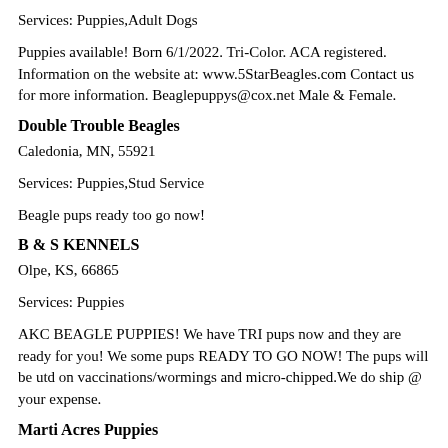Services: Puppies,Adult Dogs
Puppies available! Born 6/1/2022. Tri-Color. ACA registered. Information on the website at: www.5StarBeagles.com Contact us for more information. Beaglepuppys@cox.net Male & Female.
Double Trouble Beagles
Caledonia, MN, 55921
Services: Puppies,Stud Service
Beagle pups ready too go now!
B & S KENNELS
Olpe, KS, 66865
Services: Puppies
AKC BEAGLE PUPPIES! We have TRI pups now and they are ready for you! We some pups READY TO GO NOW! The pups will be utd on vaccinations/wormings and micro-chipped.We do ship @ your expense.
Marti Acres Puppies